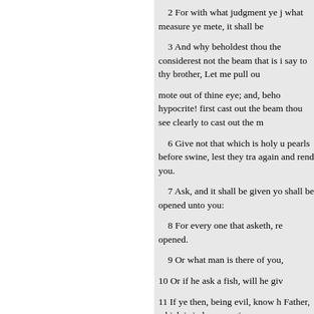2 For with what judgment ye j what measure ye mete, it shall be
3 And why beholdest thou the considerest not the beam that is i say to thy brother, Let me pull ou
mote out of thine eye; and, beho hypocrite! first cast out the beam thou see clearly to cast out the m
6 Give not that which is holy u pearls before swine, lest they tra again and rend you.
7 Ask, and it shall be given yo shall be opened unto you:
8 For every one that asketh, re opened.
9 Or what man is there of you,
10 Or if he ask a fish, will he giv
11 If ye then, being evil, know h Father, which is in heaven, give p
12 Therefore all things whatsoe